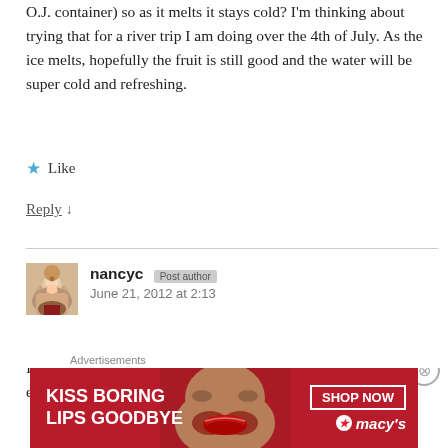O.J. container) so as it melts it stays cold? I'm thinking about trying that for a river trip I am doing over the 4th of July. As the ice melts, hopefully the fruit is still good and the water will be super cold and refreshing.
★ Like
Reply ↓
nancyc   [post author badge]   June 21, 2012 at 2:13
I haven't tried that yet, but it sounds like a great idea! Anyone else?
Advertisements
[Figure (other): Macy's advertisement banner: 'KISS BORING LIPS GOODBYE' with SHOP NOW button and Macy's logo, red background with woman's face showing red lips.]